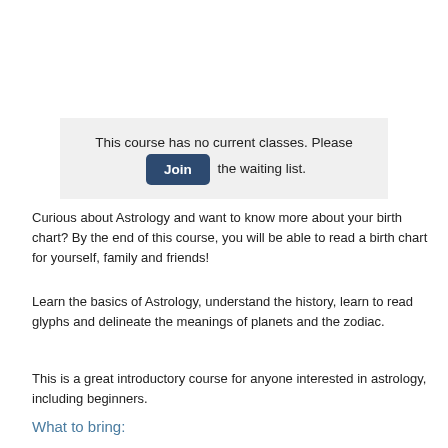This course has no current classes. Please Join the waiting list.
Curious about Astrology and want to know more about your birth chart? By the end of this course, you will be able to read a birth chart for yourself, family and friends!
Learn the basics of Astrology, understand the history, learn to read glyphs and delineate the meanings of planets and the zodiac.
This is a great introductory course for anyone interested in astrology, including beginners.
What to bring: